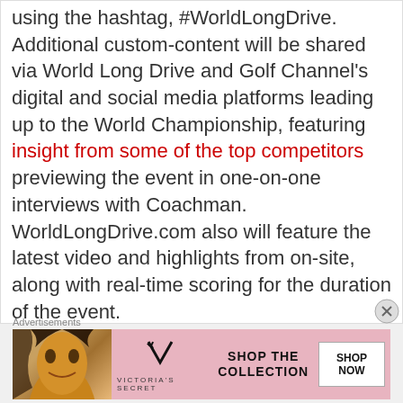using the hashtag, #WorldLongDrive. Additional custom-content will be shared via World Long Drive and Golf Channel's digital and social media platforms leading up to the World Championship, featuring insight from some of the top competitors previewing the event in one-on-one interviews with Coachman. WorldLongDrive.com also will feature the latest video and highlights from on-site, along with real-time scoring for the duration of the event.
Advertisements
[Figure (photo): Victoria's Secret advertisement banner showing a woman's face, VS logo, text 'SHOP THE COLLECTION', and a 'SHOP NOW' button]